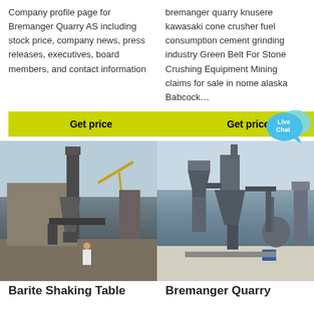Company profile page for Bremanger Quarry AS including stock price, company news, press releases, executives, board members, and contact information
bremanger quarry knusere kawasaki cone crusher fuel consumption cement grinding industry Green Belt For Stone Crushing Equipment Mining claims for sale in nome alaska Babcock...
Get price
Get price
[Figure (photo): Industrial machinery photo showing a barite shaking table setup with large vertical pipes and processing equipment outdoors]
[Figure (photo): Industrial photo showing Bremanger Quarry processing equipment with multiple cyclone separators and grinding mill machinery]
Barite Shaking Table
Bremanger Quarry